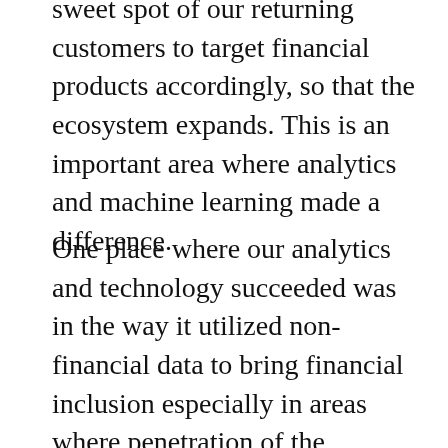sweet spot of our returning customers to target financial products accordingly, so that the ecosystem expands. This is an important area where analytics and machine learning made a difference.
One place where our analytics and technology succeeded was in the way it utilized non-financial data to bring financial inclusion especially in areas where penetration of the financial industry has been hampered due to difficult terrain or remoteness of the location. Our analytics has helped us reach out to tier-2 and tier-3 towns and border areas with products and services suited their typical demographics.